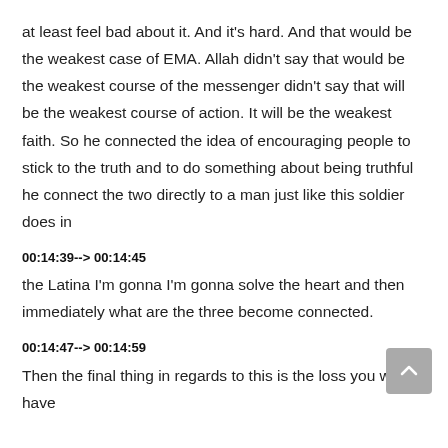at least feel bad about it. And it's hard. And that would be the weakest case of EMA. Allah didn't say that would be the weakest course of the messenger didn't say that will be the weakest course of action. It will be the weakest faith. So he connected the idea of encouraging people to stick to the truth and to do something about being truthful he connect the two directly to a man just like this soldier does in
00:14:39--> 00:14:45
the Latina I'm gonna I'm gonna solve the heart and then immediately what are the three become connected.
00:14:47--> 00:14:59
Then the final thing in regards to this is the loss you will have